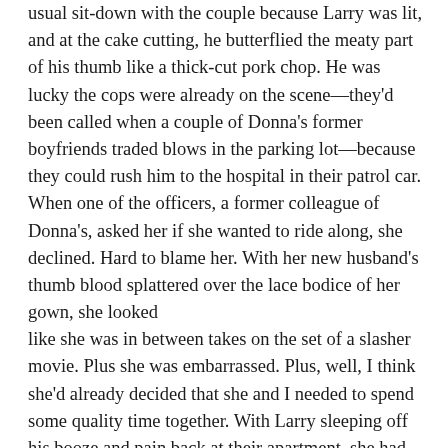usual sit-down with the couple because Larry was lit, and at the cake cutting, he butterflied the meaty part of his thumb like a thick-cut pork chop. He was lucky the cops were already on the scene—they'd been called when a couple of Donna's former boyfriends traded blows in the parking lot—because they could rush him to the hospital in their patrol car. When one of the officers, a former colleague of Donna's, asked her if she wanted to ride along, she declined. Hard to blame her. With her new husband's thumb blood splattered over the lace bodice of her gown, she looked like she was in between takes on the set of a slasher movie. Plus she was embarrassed. Plus, well, I think she'd already decided that she and I needed to spend some quality time together. With Larry sleeping off his booze and pain back at their apartment, she had opportunity to slip away. She knew where to find me because, before the reception broke up, she'd asked, and I'd written it down for her on an hors d'oeuvres napkin. This napkin was in